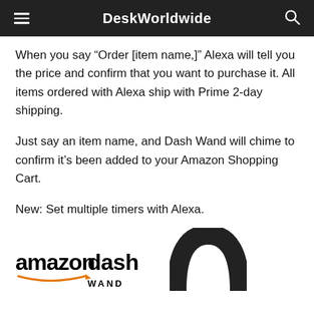DeskWorldwide
When you say “Order [item name,]” Alexa will tell you the price and confirm that you want to purchase it. All items ordered with Alexa ship with Prime 2-day shipping.
Just say an item name, and Dash Wand will chime to confirm it’s been added to your Amazon Shopping Cart.
New: Set multiple timers with Alexa.
[Figure (logo): Amazon Dash Wand logo (amazon dash WAND text with Amazon smile arrow) alongside a partial image of the Amazon Dash Wand device (black circular top portion)]